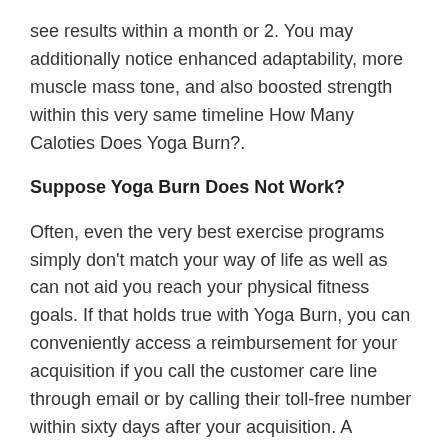see results within a month or 2. You may additionally notice enhanced adaptability, more muscle mass tone, and also boosted strength within this very same timeline How Many Caloties Does Yoga Burn?.
Suppose Yoga Burn Does Not Work?
Often, even the very best exercise programs simply don't match your way of life as well as can not aid you reach your physical fitness goals. If that holds true with Yoga Burn, you can conveniently access a reimbursement for your acquisition if you call the customer care line through email or by calling their toll-free number within sixty days after your acquisition. A